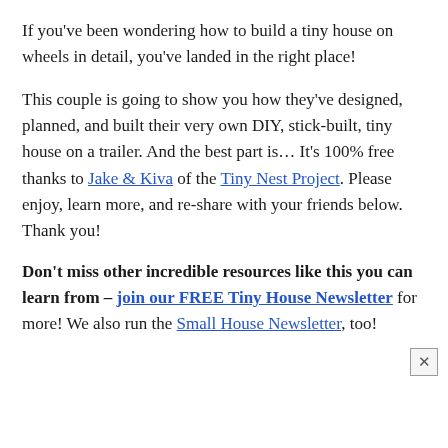If you've been wondering how to build a tiny house on wheels in detail, you've landed in the right place!
This couple is going to show you how they've designed, planned, and built their very own DIY, stick-built, tiny house on a trailer. And the best part is… It's 100% free thanks to Jake & Kiva of the Tiny Nest Project. Please enjoy, learn more, and re-share with your friends below. Thank you!
Don't miss other incredible resources like this you can learn from – join our FREE Tiny House Newsletter for more! We also run the Small House Newsletter, too!